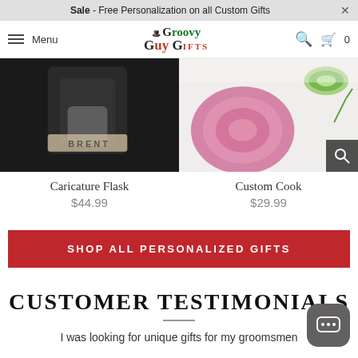Sale - Free Personalization on all Custom Gifts
[Figure (screenshot): Groovy Guy Gifts navigation bar with hamburger menu, logo, search and cart icons]
[Figure (photo): Caricature Flask product image showing dark background with a flask engraved with BRENT]
Caricature Flask
$44.99
[Figure (photo): Custom Cook product image showing sliced red onions and cucumber on white background]
Custom Cook
$29.99
SHOP ALL PERSONALIZED GIFTS
CUSTOMER TESTIMONIALS
I was looking for unique gifts for my groomsmen